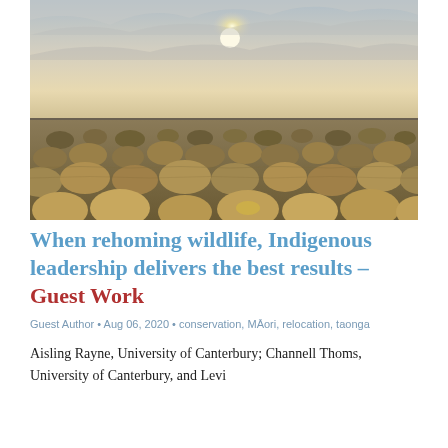[Figure (photo): Landscape photo of a wetland or tundra scene at dusk or dawn. Low sun partially behind clouds, flat terrain covered with rounded tussock grass clumps, a shallow water body visible in the background. Muted golden-brown and grey tones.]
When rehoming wildlife, Indigenous leadership delivers the best results – Guest Work
Guest Author • Aug 06, 2020 • conservation, Māori, relocation, taonga
Aisling Rayne, University of Canterbury; Channell Thoms, University of Canterbury, and Levi